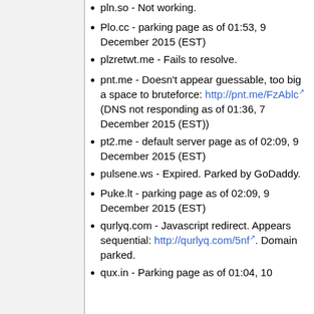pln.so - Not working.
Plo.cc - parking page as of 01:53, 9 December 2015 (EST)
plzretwt.me - Fails to resolve.
pnt.me - Doesn't appear guessable, too big a space to bruteforce: http://pnt.me/FzAblc (DNS not responding as of 01:36, 7 December 2015 (EST))
pt2.me - default server page as of 02:09, 9 December 2015 (EST)
pulsene.ws - Expired. Parked by GoDaddy.
Puke.lt - parking page as of 02:09, 9 December 2015 (EST)
qurlyq.com - Javascript redirect. Appears sequential: http://qurlyq.com/5nf. Domain parked.
qux.in - Parking page as of 01:04, 10